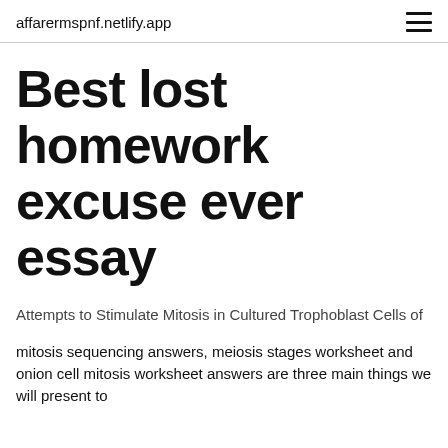affarermspnf.netlify.app
Best lost homework excuse ever essay
Attempts to Stimulate Mitosis in Cultured Trophoblast Cells of
mitosis sequencing answers, meiosis stages worksheet and onion cell mitosis worksheet answers are three main things we will present to